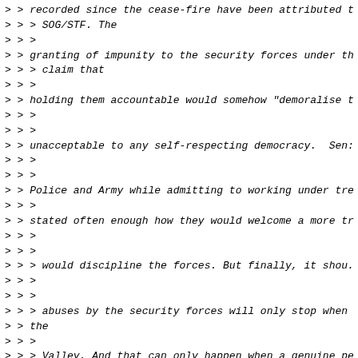> > recorded since the cease-fire have been attributed t
> > > SOG/STF. The
> > >
> > granting of impunity to the security forces under th
> > > claim that
> > >
> > holding them accountable would somehow "demoralise t
> > >
> > >
> > unacceptable to any self-respecting democracy. Sen:
> > >
> > >
> > Police and Army while admitting to working under tre
> > >
> > stated often enough how they would welcome a more tr
> > >
> > >
> > > would discipline the forces. But finally, it shou.
> > >
> > >
> > > abuses by the security forces will only stop when
> > the
> > >
> > > Valley. And that can only happen when a genuine pe
> > foothold in
> > >
> > > Kashmir.
> > >
> > >
> > >